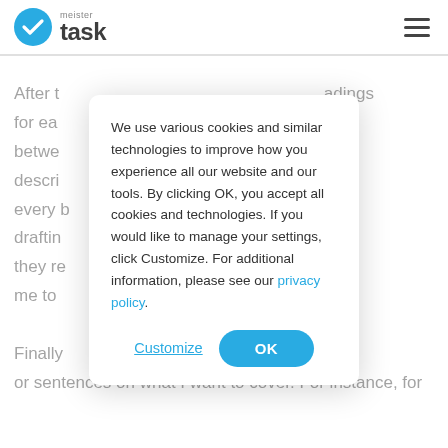[Figure (logo): MeisterTask logo: blue circle with white checkmark, followed by text 'meister' above 'task']
After t... adings for ea... ally betwe... descri... e of every b... draftin... does: they re... help me to...
We use various cookies and similar technologies to improve how you experience all our website and our tools. By clicking OK, you accept all cookies and technologies. If you would like to manage your settings, click Customize. For additional information, please see our privacy policy.
Finally... words or sentences on what I want to cover. For instance, for